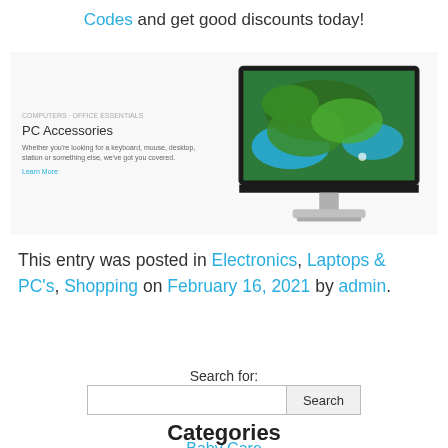Codes and get good discounts today!
[Figure (screenshot): Banner showing PC Accessories category with a Dell monitor displaying a green island/water aerial photo on screen, with a product card on the left side.]
This entry was posted in Electronics, Laptops & PC's, Shopping on February 16, 2021 by admin.
Search for:
Categories
Baby Care